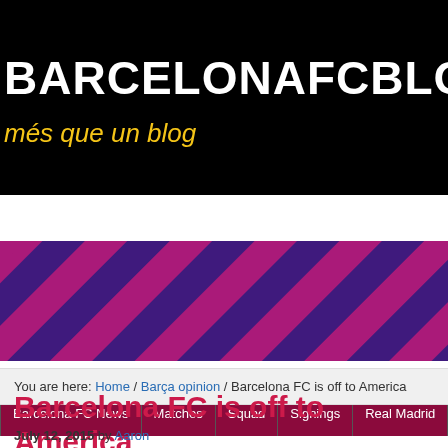BARCELONAFCBLOG / més que un blog
[Figure (illustration): Navigation bar with dark red background and menu items: Barcelona FC News, Matches, Squad, Signings, Real Madrid, Champi...]
[Figure (illustration): Diagonal striped section with alternating magenta/crimson and dark blue stripes, resembling Barcelona FC jersey colors]
You are here: Home / Barça opinion / Barcelona FC is off to America
Barcelona FC is off to America
July 12, 2015 by Aaron